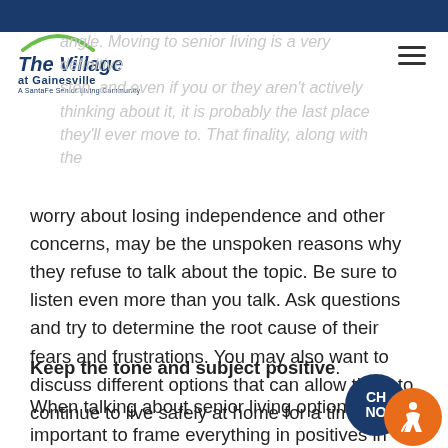[Figure (logo): The Village at Gainesville logo - A SantaFe Senior Living Community]
angle. Moving to senior living is a very definitive step, and even if you or they aren't actively thinking about it, it is probably the last place they'll ever move to. That finality, along with the
worry about losing independence and other concerns, may be the unspoken reasons why they refuse to talk about the topic. Be sure to listen even more than you talk. Ask questions and try to determine the root cause of their fears and frustrations. You may also want to discuss different options that can allow them to continue to live safely at home for a time.
Keep the tone and subject positive.
When talking about senior living options, it's important to frame everything in positives in